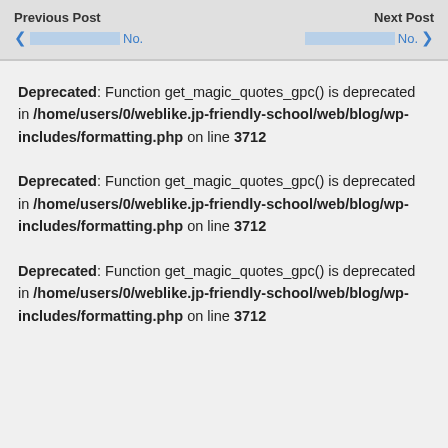Previous Post  |  Next Post
Deprecated: Function get_magic_quotes_gpc() is deprecated in /home/users/0/weblike.jp-friendly-school/web/blog/wp-includes/formatting.php on line 3712
Deprecated: Function get_magic_quotes_gpc() is deprecated in /home/users/0/weblike.jp-friendly-school/web/blog/wp-includes/formatting.php on line 3712
Deprecated: Function get_magic_quotes_gpc() is deprecated in /home/users/0/weblike.jp-friendly-school/web/blog/wp-includes/formatting.php on line 3712